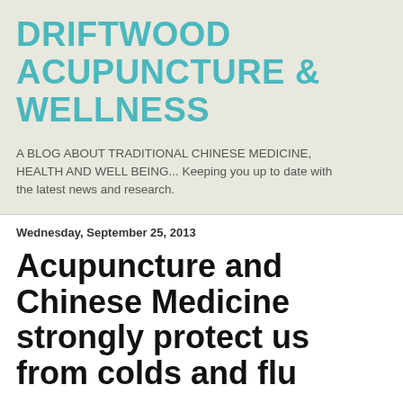DRIFTWOOD ACUPUNCTURE & WELLNESS
A BLOG ABOUT TRADITIONAL CHINESE MEDICINE, HEALTH AND WELL BEING... Keeping you up to date with the latest news and research.
Wednesday, September 25, 2013
Acupuncture and Chinese Medicine strongly protect us from colds and flu
By Melissa Sokulski, www.Natrualnews.com | September 12, 2013
Last Updated: September 12, 2013 11:48 am